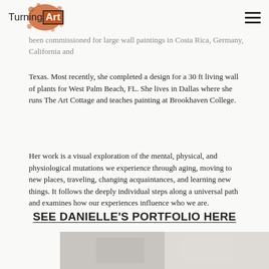TurningArt [logo with hamburger menu]
internationally, and she is represented by Galleo Urbano. She has been commissioned for large wall paintings in Costa Rica, Germany, California and Texas. Most recently, she completed a design for a 30 ft living wall of plants for West Palm Beach, FL. She lives in Dallas where she runs The Art Cottage and teaches painting at Brookhaven College.
Her work is a visual exploration of the mental, physical, and physiological mutations we experience through aging, moving to new places, traveling, changing acquaintances, and learning new things. It follows the deeply individual steps along a universal path and examines how our experiences influence who we are.
SEE DANIELLE'S PORTFOLIO HERE
[Figure (photo): Bottom strip showing a partial photo of artwork or person, cropped at bottom of page]